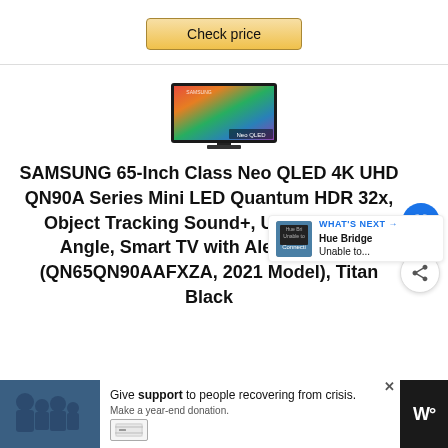[Figure (other): Check price button with gold/yellow gradient background and border]
[Figure (photo): Samsung Neo QLED TV product image showing a flat screen TV with colorful display content]
SAMSUNG 65-Inch Class Neo QLED 4K UHD QN90A Series Mini LED Quantum HDR 32x, Object Tracking Sound+, Ultra Viewing Angle, Smart TV with Alexa Built In (QN65QN90AAFXZA, 2021 Model), Titan Black
WHAT'S NEXT → Hue Bridge Unable to...
Give support to people recovering from crisis. Make a year-end donation.